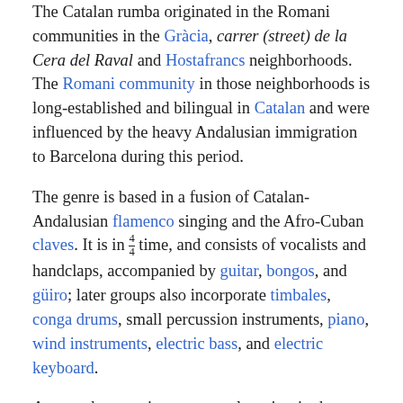The Catalan rumba originated in the Romani communities in the Gràcia, carrer (street) de la Cera del Raval and Hostafrancs neighborhoods. The Romani community in those neighborhoods is long-established and bilingual in Catalan and were influenced by the heavy Andalusian immigration to Barcelona during this period.
The genre is based in a fusion of Catalan-Andalusian flamenco singing and the Afro-Cuban claves. It is in 4/4 time, and consists of vocalists and handclaps, accompanied by guitar, bongos, and güiro; later groups also incorporate timbales, conga drums, small percussion instruments, piano, wind instruments, electric bass, and electric keyboard.
Among the most important early artists in the genre were Antonio González "El Pescaílla", Peret, Josep Maria Valentí "El Chacho", followed by the duo Los Amaya. In